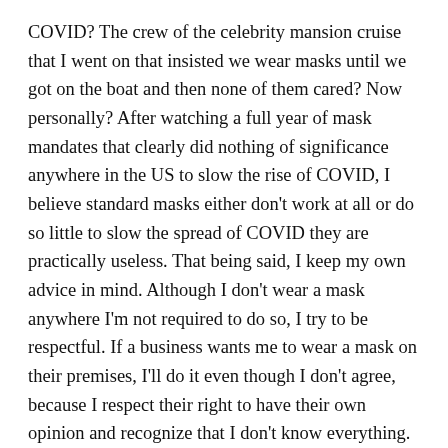COVID? The crew of the celebrity mansion cruise that I went on that insisted we wear masks until we got on the boat and then none of them cared? Now personally? After watching a full year of mask mandates that clearly did nothing of significance anywhere in the US to slow the rise of COVID, I believe standard masks either don't work at all or do so little to slow the spread of COVID they are practically useless. That being said, I keep my own advice in mind. Although I don't wear a mask anywhere I'm not required to do so, I try to be respectful. If a business wants me to wear a mask on their premises, I'll do it even though I don't agree, because I respect their right to have their own opinion and recognize that I don't know everything.
That brings us to our government.
Even if you consider being married, having a home,